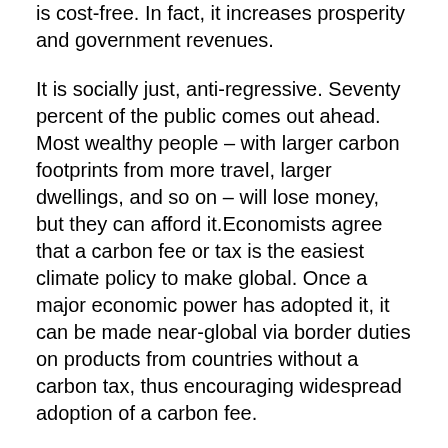is cost-free. In fact, it increases prosperity and government revenues.
It is socially just, anti-regressive. Seventy percent of the public comes out ahead. Most wealthy people – with larger carbon footprints from more travel, larger dwellings, and so on – will lose money, but they can afford it.Economists agree that a carbon fee or tax is the easiest climate policy to make global. Once a major economic power has adopted it, it can be made near-global via border duties on products from countries without a carbon tax, thus encouraging widespread adoption of a carbon fee.
Why has such a policy not been adopted in the United States? Many congresspeople in the US are well-oiled, coal-fired and full of gas. Fee-and-dividend scares the bejesus out of the fossil fuel industry. But it need not be their kryptonite, because far-thinking companies can